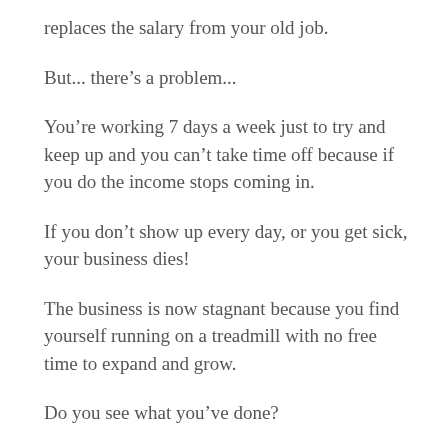replaces the salary from your old job.
But... there’s a problem...
You’re working 7 days a week just to try and keep up and you can’t take time off because if you do the income stops coming in.
If you don’t show up every day, or you get sick, your business dies!
The business is now stagnant because you find yourself running on a treadmill with no free time to expand and grow.
Do you see what you’ve done?